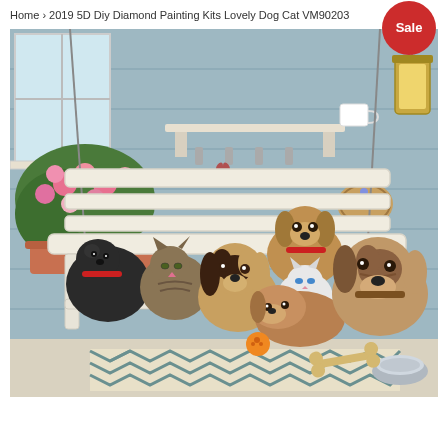Home › 2019 5D Diy Diamond Painting Kits Lovely Dog Cat VM90203
[Figure (photo): Product photo of a diamond painting kit showing cute puppies and kittens sitting together on a white wooden bench on a porch, with pink flowers, a hanging lantern, a shelf with decorations, and a chevron rug with dog toys below. A red 'Sale' badge appears in the top-right corner of the image area.]